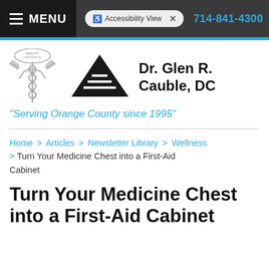MENU | Accessibility View | 714-841-4300
[Figure (logo): Caduceus chiropractic logo and triangle logo with Dr. Glen R. Cauble DC branding]
Dr. Glen R. Cauble, DC
“Serving Orange County since 1995”
Home > Articles > Newsletter Library > Wellness > Turn Your Medicine Chest into a First-Aid Cabinet
Turn Your Medicine Chest into a First-Aid Cabinet